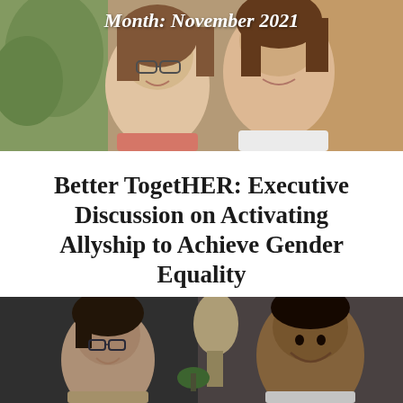[Figure (photo): Two women smiling together, one wearing glasses, with plants in the background]
Month: November 2021
Better TogetHER: Executive Discussion on Activating Allyship to Achieve Gender Equality
November 30, 2021
[Figure (photo): Two men smiling and conversing in an office setting, one wearing glasses]